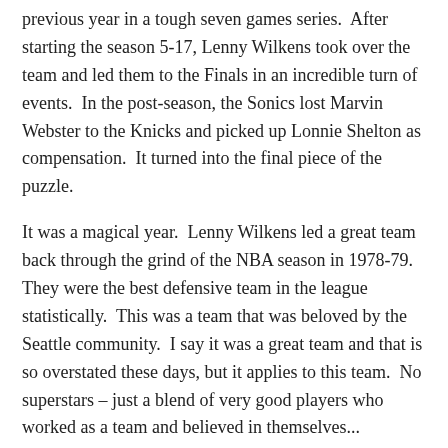previous year in a tough seven games series.  After starting the season 5-17, Lenny Wilkens took over the team and led them to the Finals in an incredible turn of events.  In the post-season, the Sonics lost Marvin Webster to the Knicks and picked up Lonnie Shelton as compensation.  It turned into the final piece of the puzzle.
It was a magical year.  Lenny Wilkens led a great team back through the grind of the NBA season in 1978-79.  They were the best defensive team in the league statistically.  This was a team that was beloved by the Seattle community.  I say it was a great team and that is so overstated these days, but it applies to this team.  No superstars – just a blend of very good players who worked as a team and believed in themselves...
Gus Williams, Dennis Johnson, Jack Sikma, John Johnson, Lonnie Shelton, Fred Brown, Paul Silas, Wally Walker, Joe Hassett, Tom LaGarde, Dick Snyder,